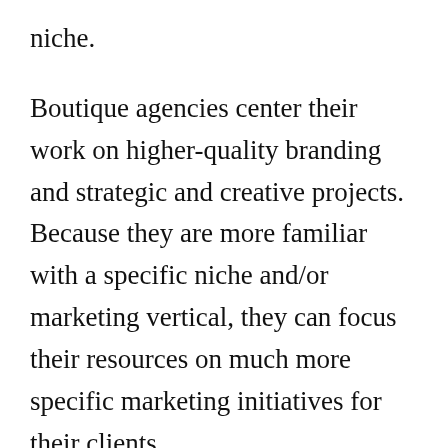niche.
Boutique agencies center their work on higher-quality branding and strategic and creative projects. Because they are more familiar with a specific niche and/or marketing vertical, they can focus their resources on much more specific marketing initiatives for their clients.
These types of marketing firms do not have multiple locations around the world. They do not have large payrolls, high overhead costs, or have experience working with big brands like Coca-Cola, Nike, or Toyota. But they usually